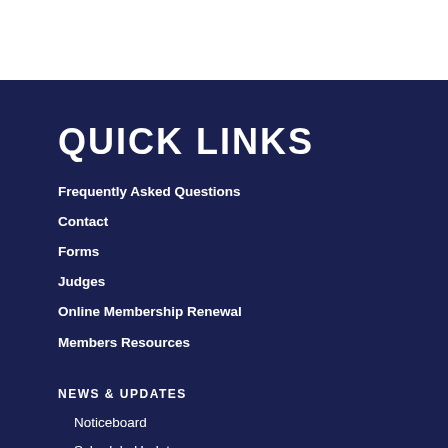QUICK LINKS
Frequently Asked Questions
Contact
Forms
Judges
Online Membership Renewal
Members Resources
NEWS & UPDATES
Noticeboard
Schedule Updates
SHOWS, TRIALS & EVENTS
Club AGM dates